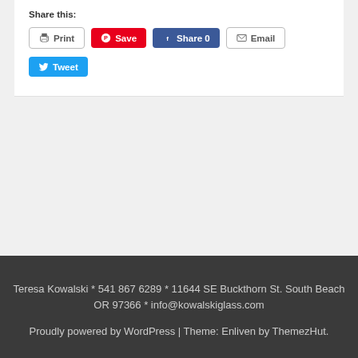Share this:
Print
Save
Share 0
Email
Tweet
Teresa Kowalski * 541 867 6289 * 11644 SE Buckthorn St. South Beach OR 97366 * info@kowalskiglass.com
Proudly powered by WordPress | Theme: Enliven by ThemezHut.